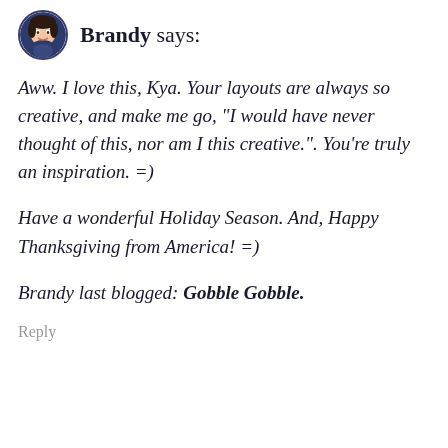Brandy says:
Aww. I love this, Kya. Your layouts are always so creative, and make me go, “I would have never thought of this, nor am I this creative.”. You’re truly an inspiration. =)
Have a wonderful Holiday Season. And, Happy Thanksgiving from America! =)
Brandy last blogged: Gobble Gobble.
Reply